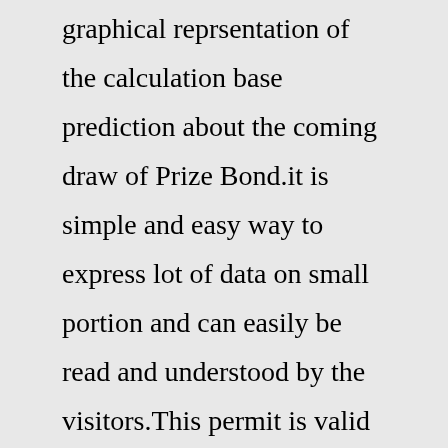graphical reprsentation of the calculation base prediction about the coming draw of Prize Bond.it is simple and easy way to express lot of data on small portion and can easily be read and understood by the visitors.This permit is valid for 45 days. You have to send them the following information (scanned as pdf or jpg): Filled Import Permit (Form r1-1) Passport copy (picture page) History of vaccination. Address in your country. Detail of your